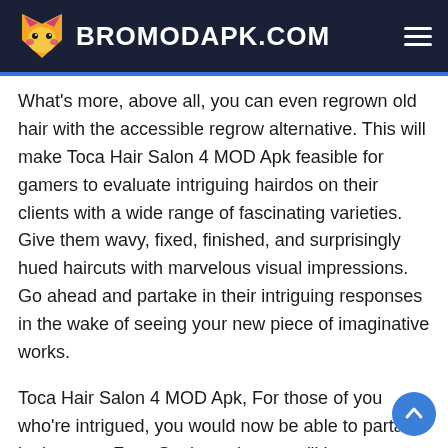BROMODAPK.COM
What's more, above all, you can even regrown old hair with the accessible regrow alternative. This will make Toca Hair Salon 4 MOD Apk feasible for gamers to evaluate intriguing hairdos on their clients with a wide range of fascinating varieties. Give them wavy, fixed, finished, and surprisingly hued haircuts with marvelous visual impressions. Go ahead and partake in their intriguing responses in the wake of seeing your new piece of imaginative works.
Toca Hair Salon 4 MOD Apk, For those of you who're intrigued, you would now be able to partake in the great Face Station, where you'll be evaluating fascinating cosmetics and face paints for your characters. Go ahead and put on fascinating corrective things on your characters to appreciate one of a kind appearances on them. Here, clients can get the fascinating mascaras to give your person lavish lashes, put on the eyeliner